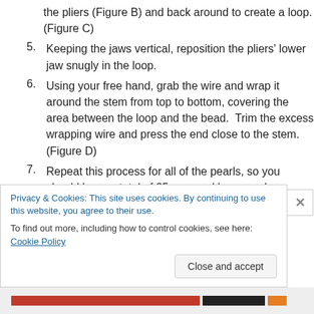(continuation of item 4) the pliers (Figure B) and back around to create a loop. (Figure C)
5. Keeping the jaws vertical, reposition the pliers' lower jaw snugly in the loop.
6. Using your free hand, grab the wire and wrap it around the stem from top to bottom, covering the area between the loop and the bead.  Trim the excess wrapping wire and press the end close to the stem. (Figure D)
7. Repeat this process for all of the pearls, so you should have a total of 25 wrapped loop pearls.
Privacy & Cookies: This site uses cookies. By continuing to use this website, you agree to their use.
To find out more, including how to control cookies, see here: Cookie Policy